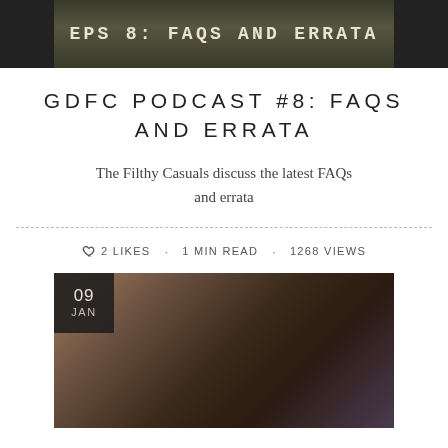[Figure (photo): Banner image with military miniature gaming figures and text 'EPS 8: FAQS AND ERRATA' in distressed font on dark background]
GDFC PODCAST #8: FAQS AND ERRATA
The Filthy Casuals discuss the latest FAQs and errata
♡ 2 LIKES · 1 MIN READ · 1268 VIEWS
[Figure (photo): Warhammer 40K miniature battle scene with large dark mech/gargant model and smaller figures, date badge showing 09 JAN overlay in top-left corner]